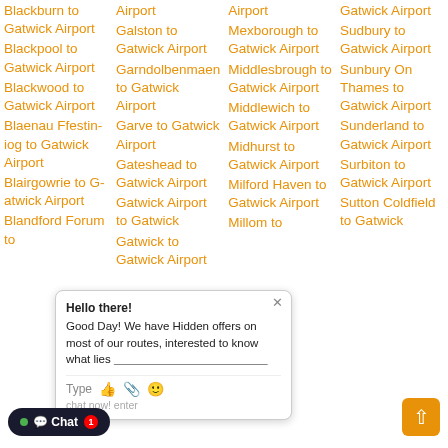Blackburn to Gatwick Airport
Blackpool to Gatwick Airport
Blackwood to Gatwick Airport
Blaenau Ffestiniog to Gatwick Airport
Blairgowrie to Gatwick Airport
Blandford Forum to Gatwick Airport
Galston to Gatwick Airport
Garndolbenmaen to Gatwick Airport
Garve to Gatwick Airport
Gateshead to Gatwick Airport
Gatwick Airport to Gatwick
Gatwick to Gatwick Airport
Airport Mexborough to Gatwick Airport
Middlesbrough to Gatwick Airport
Middlewich to Gatwick Airport
Midhurst to Gatwick Airport
Milford Haven to Gatwick Airport
Millom to Gatwick Airport
Gatwick Airport
Sudbury to Gatwick Airport
Sunbury On Thames to Gatwick Airport
Sunderland to Gatwick Airport
Surbiton to Gatwick Airport
Sutton Coldfield to Gatwick Airport